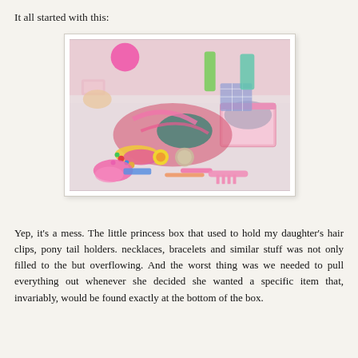It all started with this:
[Figure (photo): A messy table covered with a girl's hair accessories, clips, pony tail holders, necklaces, bracelets, beads, and a pink decorative princess box overflowing with items on a white table against a pink wall.]
Yep, it's a mess. The little princess box that used to hold my daughter's hair clips, pony tail holders. necklaces, bracelets and similar stuff was not only filled to the but overflowing. And the worst thing was we needed to pull everything out whenever she decided she wanted a specific item that, invariably, would be found exactly at the bottom of the box.